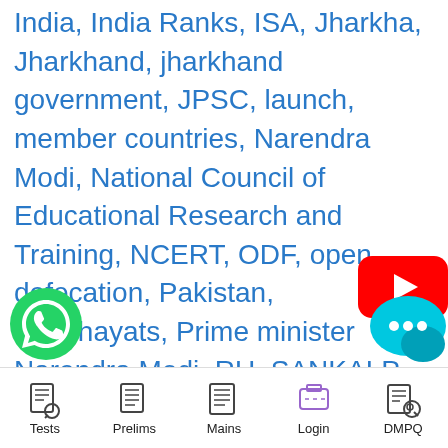India, India Ranks, ISA, Jharkha, Jharkhand, jharkhand government, JPSC, launch, member countries, Narendra Modi, National Council of Educational Research and Training, NCERT, ODF, open defecation, Pakistan, Panchayats, Prime minister Narendra Modi, RU, SANKALP, Science and Technology, secretariat, solid waste, State, state government, State Governments, The Council, the Government, the village, Union Government
[Figure (logo): YouTube play button icon (red with white triangle)]
[Figure (logo): WhatsApp icon (green circle with phone handset)]
[Figure (logo): Chat/messaging bubble icon (cyan/teal with three dots)]
Tests   Prelims   Mains   Login   DMPQ